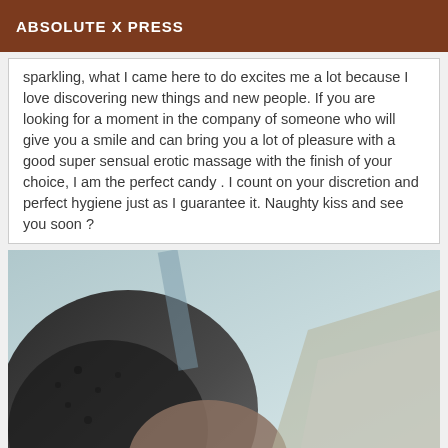ABSOLUTE X PRESS
sparkling, what I came here to do excites me a lot because I love discovering new things and new people. If you are looking for a moment in the company of someone who will give you a smile and can bring you a lot of pleasure with a good super sensual erotic massage with the finish of your choice, I am the perfect candy . I count on your discretion and perfect hygiene just as I guarantee it. Naughty kiss and see you soon ?
[Figure (photo): A close-up black and white/sepia-toned photograph showing a person wearing dark lace lingerie, partially cropped, with a light blue background visible]